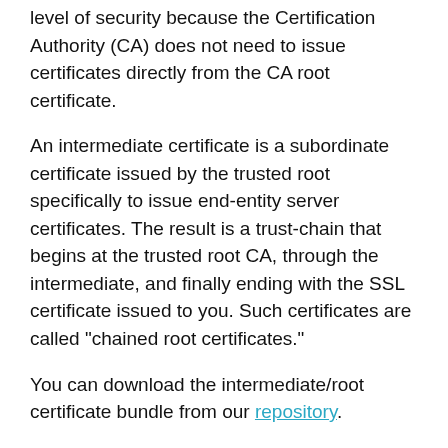level of security because the Certification Authority (CA) does not need to issue certificates directly from the CA root certificate.
An intermediate certificate is a subordinate certificate issued by the trusted root specifically to issue end-entity server certificates. The result is a trust-chain that begins at the trusted root CA, through the intermediate, and finally ending with the SSL certificate issued to you. Such certificates are called "chained root certificates."
You can download the intermediate/root certificate bundle from our repository.
After you download the bundled certificate, intermediate certificate, and your issued SSL certificate, install all of the files on your Web server. For more information, see Download my SSL